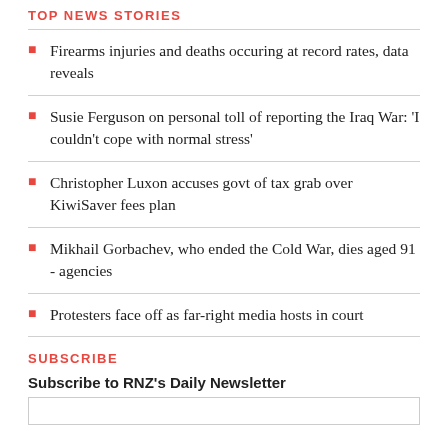TOP NEWS STORIES
Firearms injuries and deaths occuring at record rates, data reveals
Susie Ferguson on personal toll of reporting the Iraq War: 'I couldn't cope with normal stress'
Christopher Luxon accuses govt of tax grab over KiwiSaver fees plan
Mikhail Gorbachev, who ended the Cold War, dies aged 91 - agencies
Protesters face off as far-right media hosts in court
SUBSCRIBE
Subscribe to RNZ's Daily Newsletter